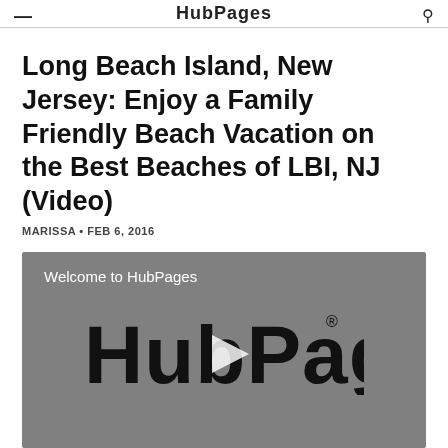HubPages
Long Beach Island, New Jersey: Enjoy a Family Friendly Beach Vacation on the Best Beaches of LBI, NJ (Video)
MARISSA • FEB 6, 2016
[Figure (screenshot): Video player thumbnail showing HubPages logo with play button overlay on gray background, with text 'Welcome to HubPages' at top left]